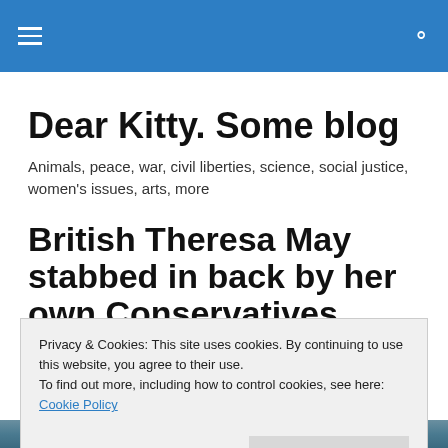Dear Kitty. Some blog — navigation header
Dear Kitty. Some blog
Animals, peace, war, civil liberties, science, social justice, women's issues, arts, more
British Theresa May stabbed in back by her own Conservatives
Privacy & Cookies: This site uses cookies. By continuing to use this website, you agree to their use.
To find out more, including how to control cookies, see here: Cookie Policy
Close and accept